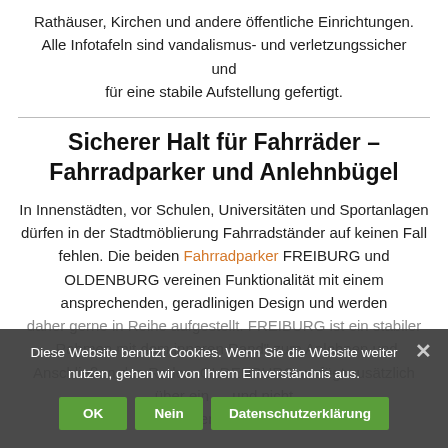Rathäuser, Kirchen und andere öffentliche Einrichtungen. Alle Infotafeln sind vandalismus- und verletzungssicher und für eine stabile Aufstellung gefertigt.
Sicherer Halt für Fahrräder – Fahrradparker und Anlehnbügel
In Innenstädten, vor Schulen, Universitäten und Sportanlagen dürfen in der Stadtmöblierung Fahrradständer auf keinen Fall fehlen. Die beiden Fahrradparker FREIBURG und OLDENBURG vereinen Funktionalität mit einem ansprechenden, geradlinigen Design und werden daher gerne in Reihe aufgestellt. FREIBURG ist ein stabiler "Rahmen mit dem inneren Rand" zum Anlehnen und Anschließen des Rades. OLDENBURG verfügt zusätzlich über ein... und nicht verletzt...
Diese Website benutzt Cookies. Wenn Sie die Website weiter nutzen, gehen wir von Ihrem Einverständnis aus.